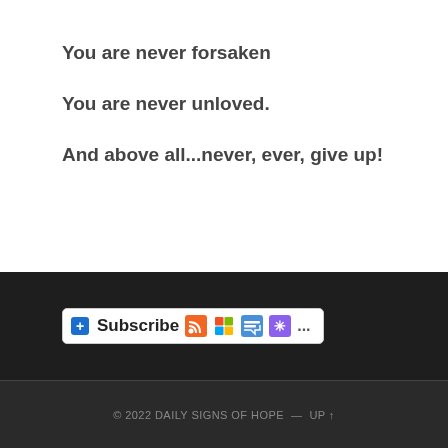You are never forsaken
You are never unloved.
And above all...never, ever, give up!
[Figure (screenshot): Subscribe button bar with RSS, Windows Live, Google Reader, Digg, and more icons on dark background]
© 2022 DAILY SIGNS OF HOPE — UP ↑